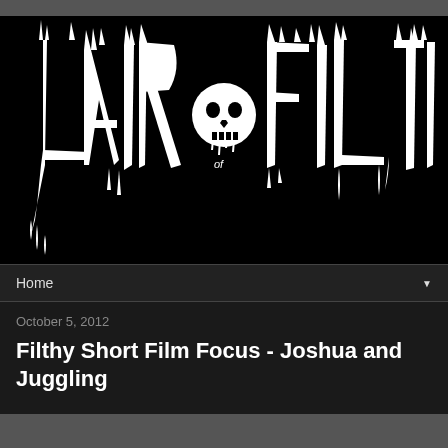[Figure (logo): Lair of Filth metal logo — white gothic/blackmetal-style lettering on black background with skull emblem in center]
Home
October 5, 2012
Filthy Short Film Focus - Joshua and Juggling